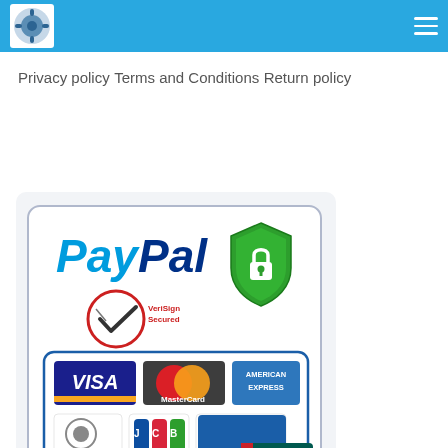[Logo] [Hamburger menu]
Privacy policy
Terms and Conditions
Return policy
[Figure (infographic): PayPal secure payment logos including VeriSign Secured badge, Visa, MasterCard, American Express, Diners Club International, JCB, Discover, and UnionPay card logos inside a rounded rectangle on a light grey background, with a green security shield with padlock icon in the upper right.]